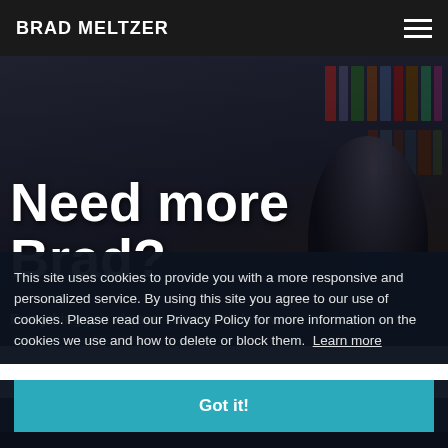BRAD MELTZER
Need more Brad?
Everything you always –wanted to know.
This site uses cookies to provide you with a more responsive and personalized service. By using this site you agree to our use of cookies. Please read our Privacy Policy for more information on the cookies we use and how to delete or block them.  Learn more
Got it!
BRAD'S LATEST THRILLER
NEW YORK TIMES BESTSELLING AUTHOR